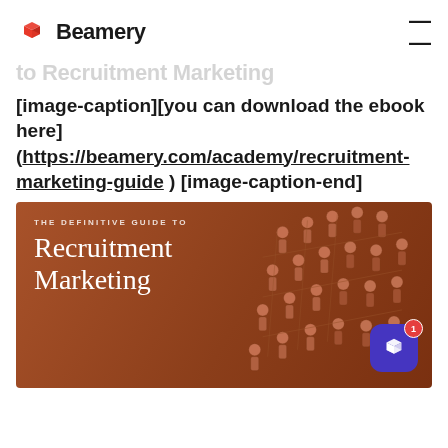Beamery
to Recruitment Marketing
[image-caption][you can download the ebook here] (https://beamery.com/academy/recruitment-marketing-guide ) [image-caption-end]
[Figure (illustration): Beamery ebook cover: The Definitive Guide to Recruitment Marketing, brown/terracotta background with illustrated people figures arranged in a grid pattern, Download The Ebook button at bottom]